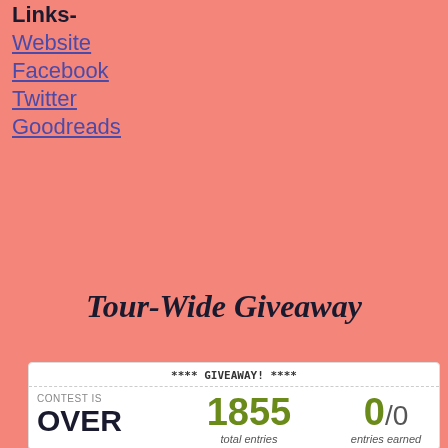Links-
Website
Facebook
Twitter
Goodreads
Tour-Wide Giveaway
**** GIVEAWAY! ****
CONTEST IS
OVER
1855 total entries
0/0 entries earned